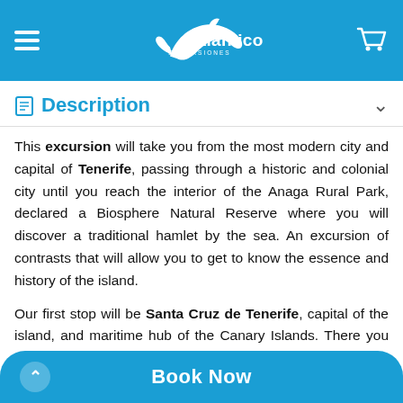Atlántico Excursiones
Description
This excursion will take you from the most modern city and capital of Tenerife, passing through a historic and colonial city until you reach the interior of the Anaga Rural Park, declared a Biosphere Natural Reserve where you will discover a traditional hamlet by the sea. An excursion of contrasts that will allow you to get to know the essence and history of the island.
Our first stop will be Santa Cruz de Tenerife, capital of the island, and maritime hub of the Canary Islands. There you can see buildings that will captivate you like
Book Now